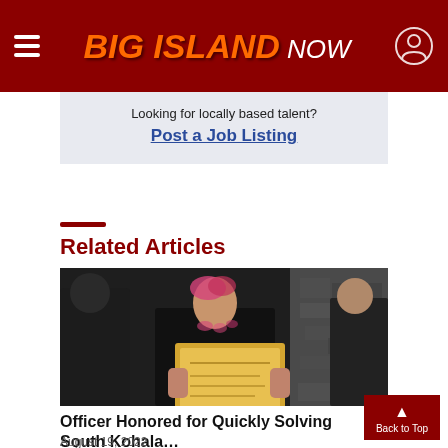BIG ISLAND NOW
Looking for locally based talent?
Post a Job Listing
Related Articles
[Figure (photo): Police officers holding a certificate/award, woman with pink hair lei receiving recognition]
Officer Honored for Quickly Solving South Kohala…
August 19, 2022